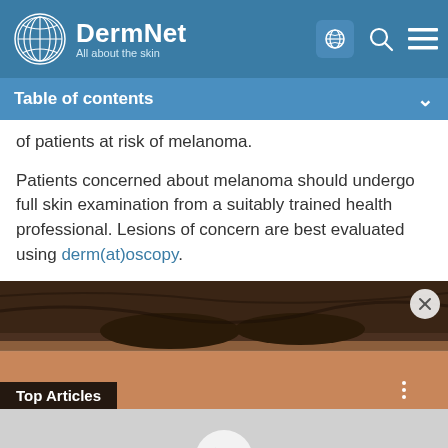DermNet — All about the skin
Table of contents
of patients at risk of melanoma.
Patients concerned about melanoma should undergo full skin examination from a suitably trained health professional. Lesions of concern are best evaluated using derm(at)oscopy.
[Figure (photo): Top Articles advertisement banner showing a close-up of a man's forehead/eyebrow area with brown hair, overlaid with 'Top Articles' label and a close (X) button]
[Figure (photo): Video player area with play button on gray background]